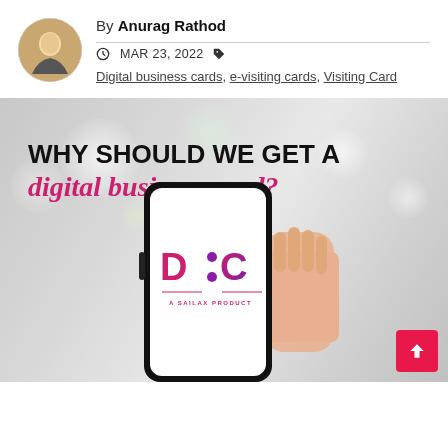By Anurag Rathod
MAR 23, 2022  Digital business cards, e-visiting cards, Visiting Card
[Figure (illustration): Promotional banner for digital business card article. White/grey blurred bokeh background with text 'WHY SHOULD WE GET A digital business card?' and a hand holding a smartphone displaying the DBC (Digital Business Card) logo - a Sailax product. Pink back-to-top button in bottom right corner.]